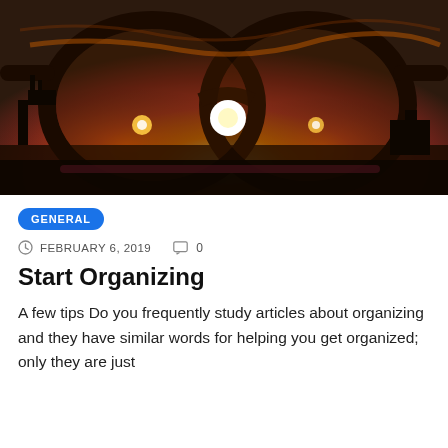[Figure (photo): Close-up photograph of round eyeglasses against a dramatic sunset sky. Through the lenses, a bright white sun is visible on the horizon with an orange and dark sky background. Silhouettes of structures appear on the left side.]
GENERAL
FEBRUARY 6, 2019   0
Start Organizing
A few tips Do you frequently study articles about organizing and they have similar words for helping you get organized; only they are just